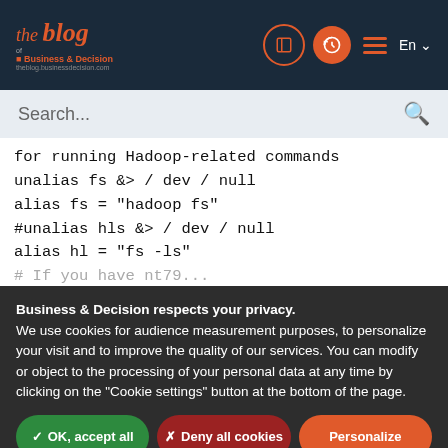the blog Business & Decision — navigation bar with search, icons, hamburger menu, language selector
Search...
for running Hadoop-related commands
unalias fs &> / dev / null
alias fs = "hadoop fs"
#unalias hls &> / dev / null
alias hl = "fs -ls"
# If you have nt79...
Business & Decision respects your privacy.
We use cookies for audience measurement purposes, to personalize your visit and to improve the quality of our services. You can modify or object to the processing of your personal data at any time by clicking on the "Cookie settings" button at the bottom of the page.
✓ OK, accept all
✗ Deny all cookies
Personalize
Privacy policy